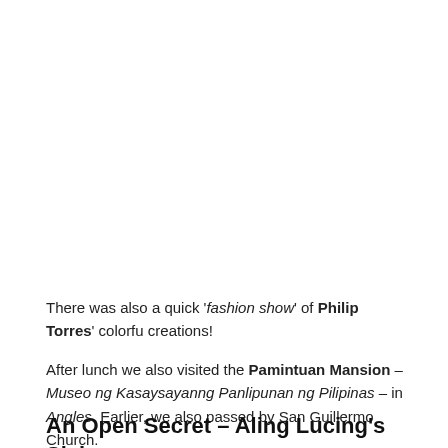There was also a quick 'fashion show' of Philip Torres' colorful creations!
After lunch we also visited the Pamintuan Mansion – Museo ng Kasaysayanng Panlipunan ng Pilipinas – in Angles. Earlier, we also passed by San Guillermo Church.
An Open Secret – Aling Lucing's Sisig